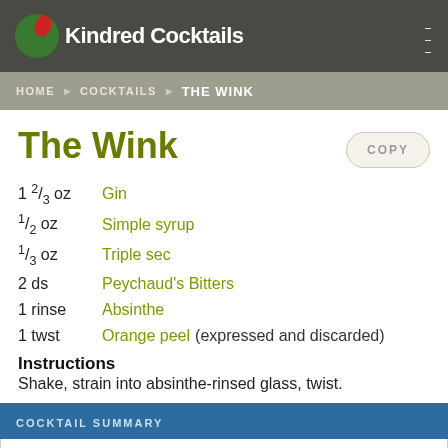Kindred Cocktails
HOME > COCKTAILS > THE WINK
The Wink
1 2/3 oz Gin
1/2 oz Simple syrup
1/3 oz Triple sec
2 ds Peychaud's Bitters
1 rinse Absinthe
1 twst Orange peel (expressed and discarded)
Instructions
Shake, strain into absinthe-rinsed glass, twist.
COCKTAIL SUMMARY
Posted by ... 7/26/2017